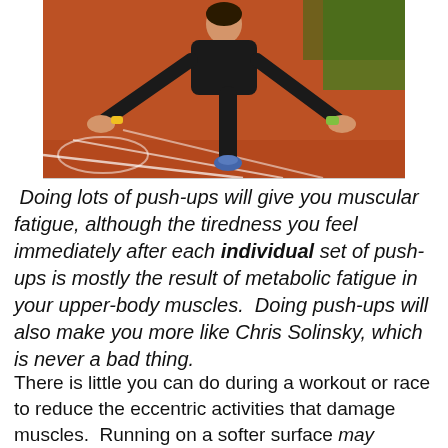[Figure (photo): A man doing a push-up on a red running track surface, viewed from above and in front. He is wearing a yellow wristband on one hand and a green/yellow sports watch on the other.]
Doing lots of push-ups will give you muscular fatigue, although the tiredness you feel immediately after each individual set of push-ups is mostly the result of metabolic fatigue in your upper-body muscles.  Doing push-ups will also make you more like Chris Solinsky, which is never a bad thing.
There is little you can do during a workout or race to reduce the eccentric activities that damage muscles.  Running on a softer surface may reduce microtrauma to